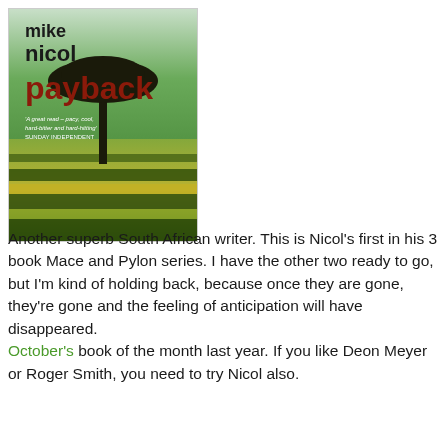[Figure (illustration): Book cover of 'Payback' by Mike Nicol. Green background with black silhouette of a tree and African landscape. Title 'payback' in large dark red letters, author name 'mike nicol' in black at top. Quote text: 'A great read – pacy, cool, hard-bitter and hard-hitting' SUNDAY INDEPENDENT]
Another superb South African writer. This is Nicol's first in his 3 book Mace and Pylon series. I have the other two ready to go, but I'm kind of holding back, because once they are gone, they're gone and the feeling of anticipation will have disappeared. October's book of the month last year. If you like Deon Meyer or Roger Smith, you need to try Nicol also.